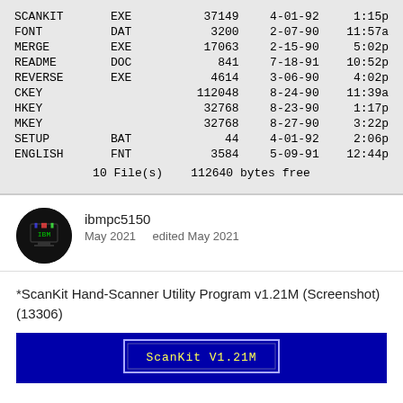| Name | Ext | Size | Date | Time |
| --- | --- | --- | --- | --- |
| SCANKIT | EXE | 37149 | 4-01-92 | 1:15p |
| FONT | DAT | 3200 | 2-07-90 | 11:57a |
| MERGE | EXE | 17063 | 2-15-90 | 5:02p |
| README | DOC | 841 | 7-18-91 | 10:52p |
| REVERSE | EXE | 4614 | 3-06-90 | 4:02p |
| CKEY |  | 112048 | 8-24-90 | 11:39a |
| HKEY |  | 32768 | 8-23-90 | 1:17p |
| MKEY |  | 32768 | 8-27-90 | 3:22p |
| SETUP | BAT | 44 | 4-01-92 | 2:06p |
| ENGLISH | FNT | 3584 | 5-09-91 | 12:44p |
|  | 10 File(s) | 112640 bytes free |  |  |
ibmpc5150
May 2021    edited May 2021
*ScanKit Hand-Scanner Utility Program v1.21M (Screenshot) (13306)
[Figure (screenshot): Blue screen showing 'ScanKit V1.21M' title in a bordered box]